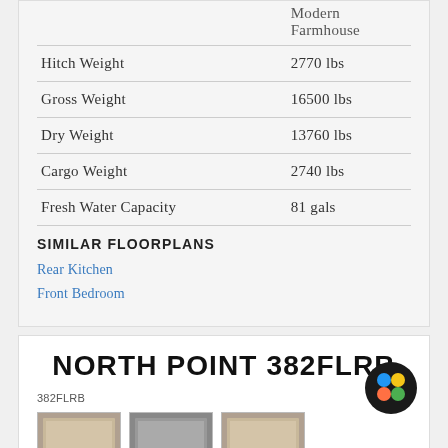|  | Modern Farmhouse |
| --- | --- |
| Hitch Weight | 2770 lbs |
| Gross Weight | 16500 lbs |
| Dry Weight | 13760 lbs |
| Cargo Weight | 2740 lbs |
| Fresh Water Capacity | 81 gals |
SIMILAR FLOORPLANS
Rear Kitchen
Front Bedroom
NORTH POINT 382FLRB
382FLRB
[Figure (photo): Three thumbnail images of RV floorplans for North Point 382FLRB]